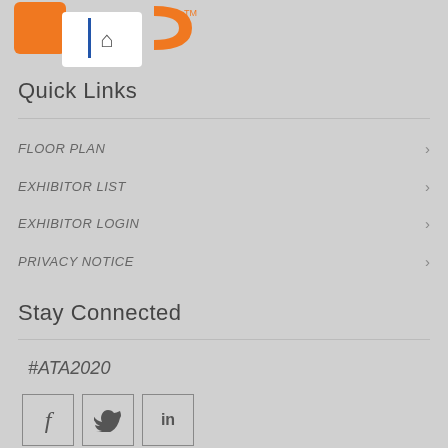[Figure (logo): App or brand logo with orange shapes and a home icon, with TM mark]
Quick Links
FLOOR PLAN
EXHIBITOR LIST
EXHIBITOR LOGIN
PRIVACY NOTICE
Stay Connected
#ATA2020
[Figure (illustration): Social media icons: Facebook, Twitter, LinkedIn in square bordered boxes]